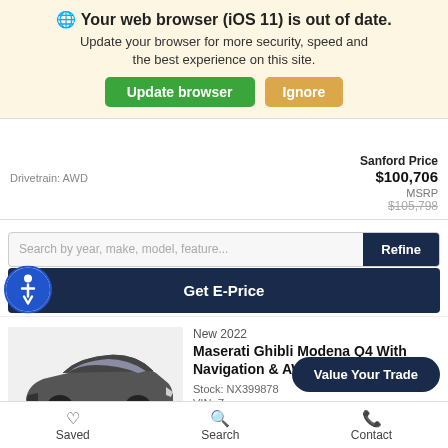🌐 Your web browser (iOS 11) is out of date. Update your browser for more security, speed and the best experience on this site. [Update browser] [Ignore]
Drivetrain: AWD | Sanford Price $100,706 | MSRP $105,708
Search by year, make, model, feature... [Refine]
Get E-Price
New 2022 Maserati Ghibli Modena Q4 With Navigation & AWD Stock: NX399878 VIN: Z... [Value Your Trade]
Saved   Search   Contact